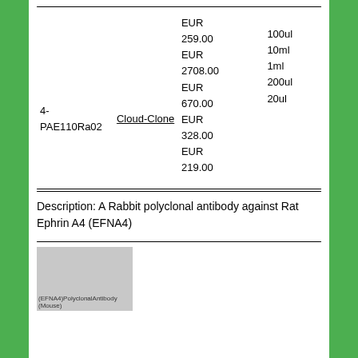| ID | Vendor | Price | Size |
| --- | --- | --- | --- |
| 4-PAE110Ra02 | Cloud-Clone | EUR 259.00
EUR 2708.00
EUR 670.00
EUR 328.00
EUR 219.00 | 100ul
10ml
1ml
200ul
20ul |
Description: A Rabbit polyclonal antibody against Rat Ephrin A4 (EFNA4)
[Figure (photo): Product image thumbnail labeled '(EFNA4) Polyclonal Antibody (Mouse)' on a gray background]